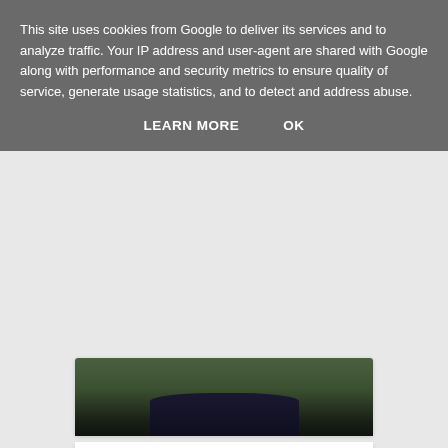This site uses cookies from Google to deliver its services and to analyze traffic. Your IP address and user-agent are shared with Google along with performance and security metrics to ensure quality of service, generate usage statistics, and to detect and address abuse.
LEARN MORE    OK
[Figure (photo): Partial photo cropped at top, showing lower portion of an outdoor scene with dark clothing and green background, inside a white card]
Sept 2017
[Figure (photo): Photo of two people standing together — a man with grey hair wearing a light shirt and red tie, and a woman wearing a dark t-shirt with 'HOPE' text, in front of a light green/teal wall]